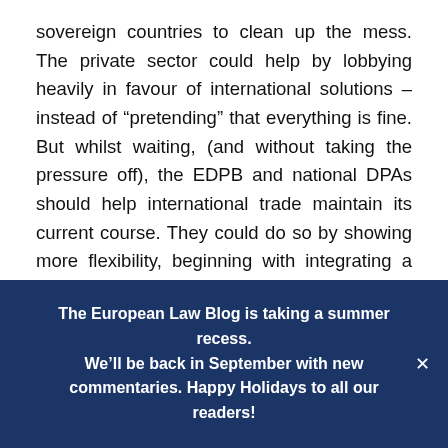sovereign countries to clean up the mess. The private sector could help by lobbying heavily in favour of international solutions – instead of “pretending” that everything is fine. But whilst waiting, (and without taking the pressure off), the EDPB and national DPAs should help international trade maintain its current course. They could do so by showing more flexibility, beginning with integrating a proportionate and risk-based approach in the updated final guidance (to be released after November 30).
The European Law Blog is taking a summer recess. We’ll be back in September with new commentaries. Happy Holidays to all our readers!